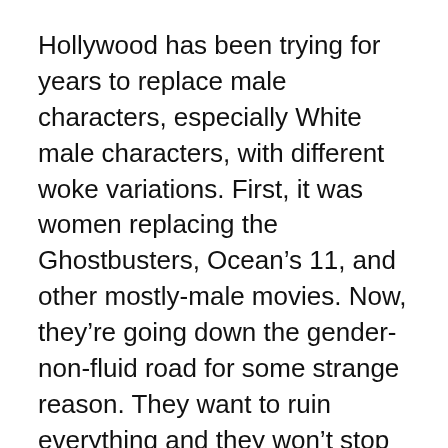Hollywood has been trying for years to replace male characters, especially White male characters, with different woke variations. First, it was women replacing the Ghostbusters, Ocean’s 11, and other mostly-male movies. Now, they’re going down the gender-non-fluid road for some strange reason. They want to ruin everything and they won’t stop until we demonstrate that it just doesn’t work.
Unfortunately, the reverse side of the coin may be true as well. They may take their failures as a sign that they need to keep doubling down like a blackjack loser on the worst streak of his life. We’ve seen it happen...